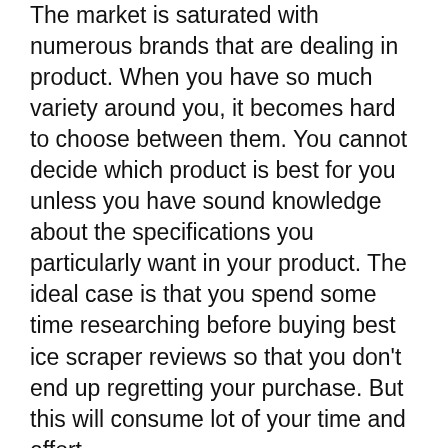The market is saturated with numerous brands that are dealing in product. When you have so much variety around you, it becomes hard to choose between them. You cannot decide which product is best for you unless you have sound knowledge about the specifications you particularly want in your product. The ideal case is that you spend some time researching before buying best ice scraper reviews so that you don't end up regretting your purchase. But this will consume lot of your time and effort.
Relax! We have made this task little stress-free for you. We have done some research, and listed some products which may help you to decide which product is best for you. We have shortlisted the features and